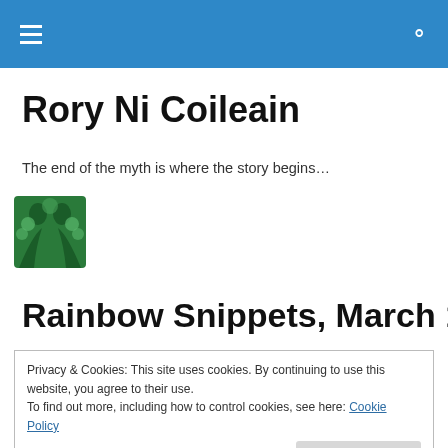Rory Ni Coileain
The end of the myth is where the story begins…
[Figure (logo): Green logo with two face silhouettes]
Rainbow Snippets, March 19,
Privacy & Cookies: This site uses cookies. By continuing to use this website, you agree to their use.
To find out more, including how to control cookies, see here: Cookie Policy
[Figure (photo): Partial photo at the bottom of the page]